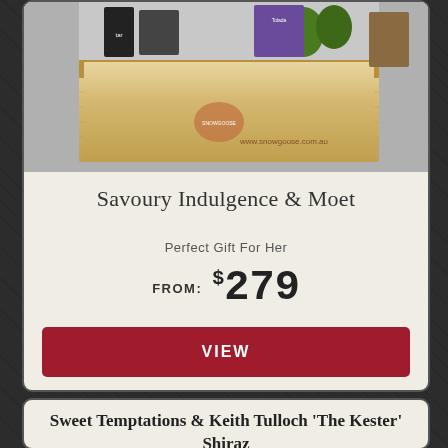[Figure (photo): Photo of a wooden crate gift hamper from Snow Goose (www.snowgoose.com.au) filled with gourmet items including avocados, packaged goods, and other products.]
Savoury Indulgence & Moet
Perfect Gift For Her
FROM: $279
VIEW
Sweet Temptations & Keith Tulloch 'The Kester' Shiraz